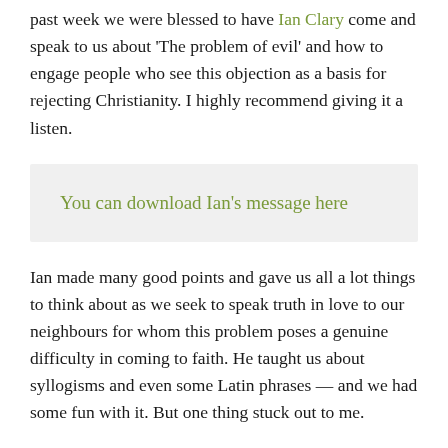past week we were blessed to have Ian Clary come and speak to us about 'The problem of evil' and how to engage people who see this objection as a basis for rejecting Christianity. I highly recommend giving it a listen.
You can download Ian's message here
Ian made many good points and gave us all a lot things to think about as we seek to speak truth in love to our neighbours for whom this problem poses a genuine difficulty in coming to faith. He taught us about syllogisms and even some Latin phrases — and we had some fun with it. But one thing stuck out to me.
Continue reading